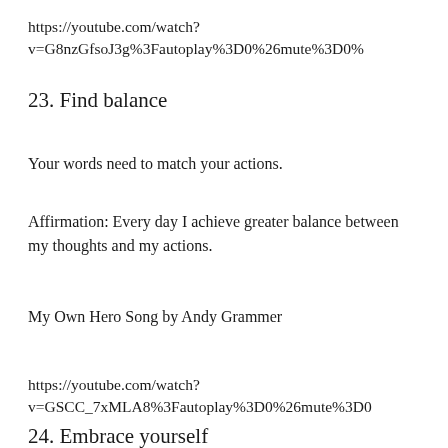https://youtube.com/watch?v=G8nzGfsoJ3g%3Fautoplay%3D0%26mute%3D0%
23. Find balance
Your words need to match your actions.
Affirmation: Every day I achieve greater balance between my thoughts and my actions.
My Own Hero Song by Andy Grammer
https://youtube.com/watch?v=GSCC_7xMLA8%3Fautoplay%3D0%26mute%3D0
24. Embrace yourself